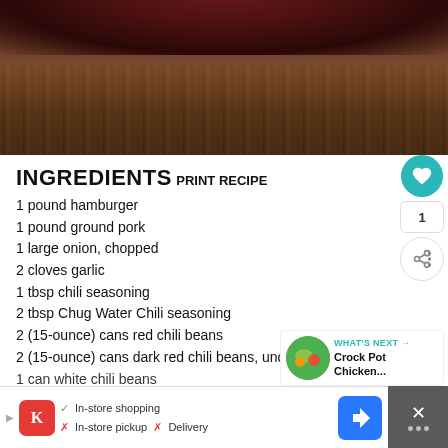[Figure (photo): Dark close-up photo of what appears to be a cooking pot or crock pot on a wooden surface, viewed from above showing the rim and wooden table underneath]
INGREDIENTS
PRINT RECIPE
1 pound hamburger
1 pound ground pork
1 large onion, chopped
2 cloves garlic
1 tbsp chili seasoning
2 tbsp Chug Water Chili seasoning
2 (15-ounce) cans red chili beans
2 (15-ounce) cans dark red chili beans, undrained
1 can white chili beans